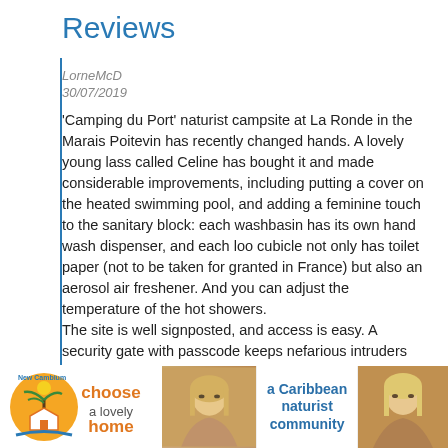Reviews
LorneMcD
30/07/2019
'Camping du Port' naturist campsite at La Ronde in the Marais Poitevin has recently changed hands. A lovely young lass called Celine has bought it and made considerable improvements, including putting a cover on the heated swimming pool, and adding a feminine touch to the sanitary block: each washbasin has its own hand wash dispenser, and each loo cubicle not only has toilet paper (not to be taken for granted in France) but also an aerosol air freshener. And you can adjust the temperature of the hot showers.
The site is well signposted, and access is easy. A security gate with passcode keeps nefarious intruders out. Celine, who speaks English, will give you a lovely welcome and a personal tour of the site, and you don't need an INF card. The electricity is 10 amp, and perhaps best of all: there is excellent wifi throughout, and it's FREE – putting the more expe... the e... requi...
[Figure (infographic): Advertisement for New Cambium: 'choose a lovely home' with orange and blue logo]
[Figure (photo): Photo of a woman with blonde hair]
[Figure (infographic): Advertisement for 'a Caribbean naturist community' in blue text]
[Figure (photo): Photo of a woman with light hair]